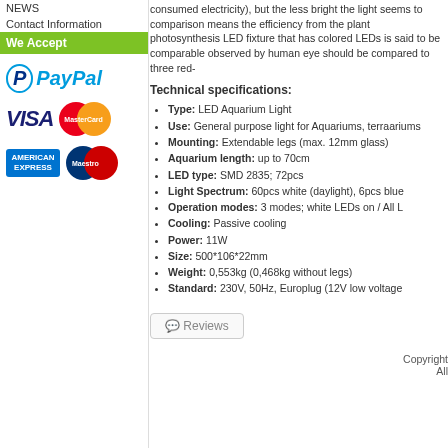NEWS
Contact Information
We Accept
[Figure (logo): PayPal, VISA, MasterCard, American Express, Maestro payment logos]
consumed electricity), but the less bright the light seems to comparison means the efficiency from the plant photosynthesis LED fixture that has colored LEDs is said to be comparable observed by human eye should be compared to three red-
Technical specifications:
Type: LED Aquarium Light
Use: General purpose light for Aquariums, terraariums
Mounting: Extendable legs (max. 12mm glass)
Aquarium length: up to 70cm
LED type: SMD 2835; 72pcs
Light Spectrum: 60pcs white (daylight), 6pcs blue
Operation modes: 3 modes; white LEDs on / All L
Cooling: Passive cooling
Power: 11W
Size: 500*106*22mm
Weight: 0,553kg (0,468kg without legs)
Standard: 230V, 50Hz, Europlug (12V low voltage
Reviews
Copyright All